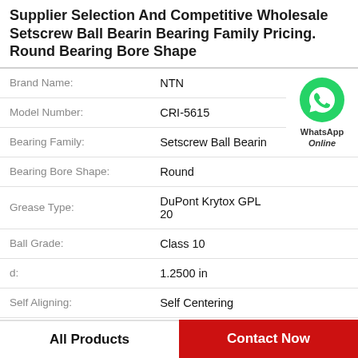Supplier Selection And Competitive Wholesale Setscrew Ball Bearin Bearing Family Pricing. Round Bearing Bore Shape
| Attribute | Value |
| --- | --- |
| Brand Name: | NTN |
| Model Number: | CRI-5615 |
| Bearing Family: | Setscrew Ball Bearin |
| Bearing Bore Shape: | Round |
| Grease Type: | DuPont Krytox GPL 20 |
| Ball Grade: | Class 10 |
| d: | 1.2500 in |
| Self Aligning: | Self Centering |
[Figure (logo): WhatsApp green phone icon with label 'WhatsApp Online']
All Products
Contact Now